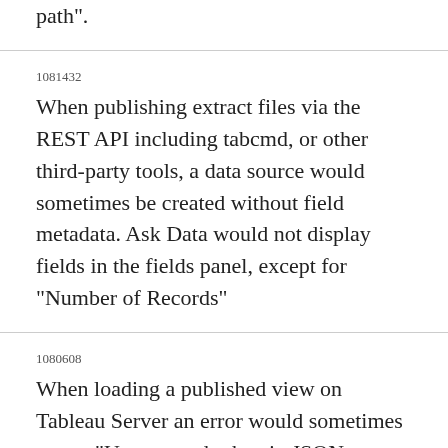path".
1081432
When publishing extract files via the REST API including tabcmd, or other third-party tools, a data source would sometimes be created without field metadata. Ask Data would not display fields in the fields panel, except for "Number of Records"
1080608
When loading a published view on Tableau Server an error would sometimes occur, "Unexpected token in JSON at position xxx".